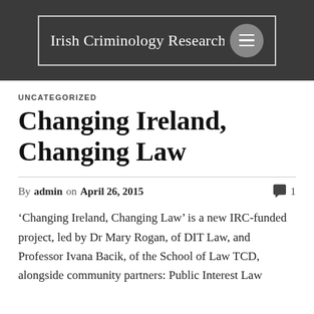Irish Criminology Research Network
UNCATEGORIZED
Changing Ireland, Changing Law
By admin on April 26, 2015 · 1 comment
'Changing Ireland, Changing Law' is a new IRC-funded project, led by Dr Mary Rogan, of DIT Law, and Professor Ivana Bacik, of the School of Law TCD, alongside community partners: Public Interest Law